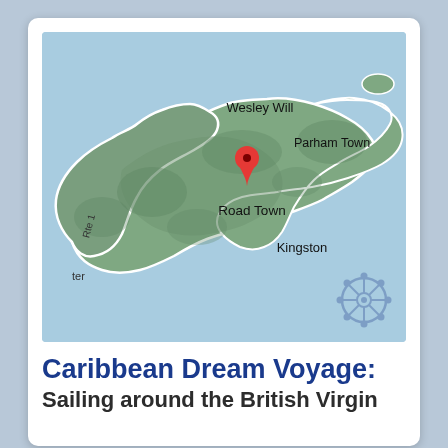[Figure (map): Map of Tortola, British Virgin Islands showing Road Town (marked with a red pin), Wesley Will, Parham Town, Kingston, Rte 1, and 'ter' labels. The island is shown in green/terrain style on a light blue sea background. A ship wheel icon appears in the bottom right corner of the map.]
Caribbean Dream Voyage: Sailing around the British Virgin